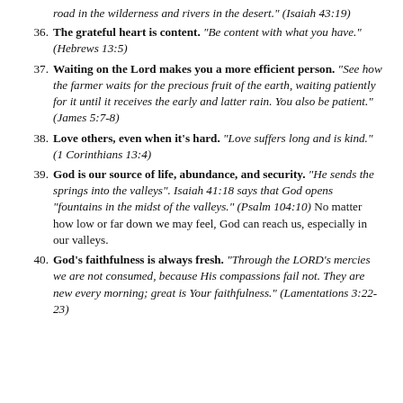road in the wilderness and rivers in the desert." (Isaiah 43:19)
36. The grateful heart is content. "Be content with what you have." (Hebrews 13:5)
37. Waiting on the Lord makes you a more efficient person. "See how the farmer waits for the precious fruit of the earth, waiting patiently for it until it receives the early and latter rain. You also be patient." (James 5:7-8)
38. Love others, even when it’s hard. "Love suffers long and is kind." (1 Corinthians 13:4)
39. God is our source of life, abundance, and security. "He sends the springs into the valleys". Isaiah 41:18 says that God opens “fountains in the midst of the valleys.” (Psalm 104:10) No matter how low or far down we may feel, God can reach us, especially in our valleys.
40. God’s faithfulness is always fresh. "Through the LORD’s mercies we are not consumed, because His compassions fail not. They are new every morning; great is Your faithfulness." (Lamentations 3:22-23)